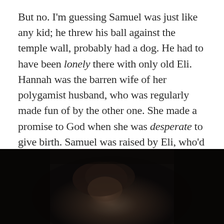But no. I'm guessing Samuel was just like any kid; he threw his ball against the temple wall, probably had a dog. He had to have been lonely there with only old Eli. Hannah was the barren wife of her polygamist husband, who was regularly made fun of by the other one. She made a promise to God when she was desperate to give birth. Samuel was raised by Eli, who'd already raised two sons that turned out to be jerks. Eli was no great father-figure or super-star-prophet-maker. He was more like a priestly failure.
[Figure (photo): Dark, moody photograph showing a shadowy figure, dimly lit from below, appearing to be a person with curly or textured hair in a very dark environment]